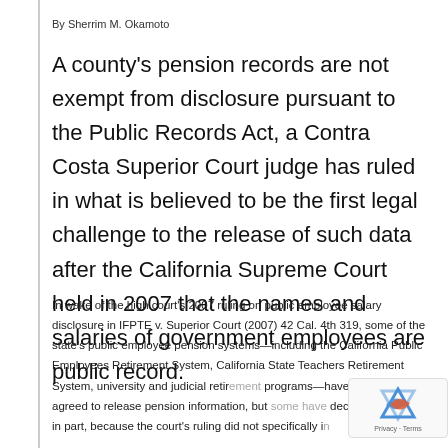By Sherrim M. Okamoto
A county's pension records are not exempt from disclosure pursuant to the Public Records Act, a Contra Costa Superior Court judge has ruled in what is believed to be the first legal challenge to the release of such data after the California Supreme Court held in 2007 that the names and salaries of government employees are public record.
In wake of the high court's 2007 ruling on public employee salary disclosure in IFPTE v. Superior Court (2007) 42 Cal. 4th 319, some of the state's public employee pension systems—including the California Public Employees Retirement System, California State Teachers Retirement System, university and judicial retirement programs—have released, or agreed to release pension information, but some have declined to do so, in part, because the court's ruling did not specifically in